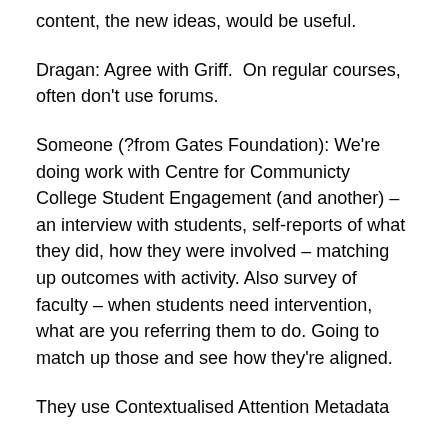content, the new ideas, would be useful.
Dragan: Agree with Griff.  On regular courses, often don't use forums.
Someone (?from Gates Foundation): We're doing work with Centre for Communicty College Student Engagement (and another) – an interview with students, self-reports of what they did, how they were involved – matching up outcomes with activity. Also survey of faculty – when students need intervention, what are you referring them to do. Going to match up those and see how they're aligned.
They use Contextualised Attention Metadata